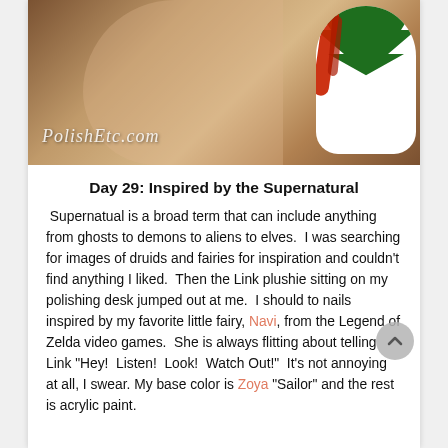[Figure (photo): Close-up photo of fingernails showing nail art with white base, green Christmas tree design and red streaks. Watermark reads 'PolishEtc.com'.]
Day 29: Inspired by the Supernatural
Supernatual is a broad term that can include anything from ghosts to demons to aliens to elves.  I was searching for images of druids and fairies for inspiration and couldn't find anything I liked.  Then the Link plushie sitting on my polishing desk jumped out at me.  I should to nails inspired by my favorite little fairy, Navi, from the Legend of Zelda video games.  She is always flitting about telling Link "Hey!  Listen!  Look!  Watch Out!"  It's not annoying at all, I swear. My base color is Zoya "Sailor" and the rest is acrylic paint.